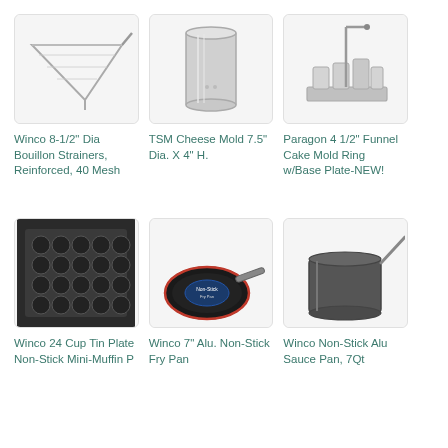[Figure (photo): Winco 8-1/2 inch Dia Bouillon Strainer, conical metal strainer with long handle]
Winco 8-1/2" Dia Bouillon Strainers, Reinforced, 40 Mesh
[Figure (photo): TSM Cheese Mold cylindrical stainless steel mold]
TSM Cheese Mold 7.5" Dia. X 4" H.
[Figure (photo): Paragon 4 1/2 inch Funnel Cake Mold Ring with Base Plate]
Paragon 4 1/2" Funnel Cake Mold Ring w/Base Plate-NEW!
[Figure (photo): Winco 24 Cup Tin Plate Non-Stick Mini-Muffin Pan, dark metal with circular cups]
Winco 24 Cup Tin Plate Non-Stick Mini-Muffin P
[Figure (photo): Winco 7 inch Aluminum Non-Stick Fry Pan with handle]
Winco 7" Alu. Non-Stick Fry Pan
[Figure (photo): Winco Non-Stick Aluminum Sauce Pan 7Qt with long handle]
Winco Non-Stick Alu Sauce Pan, 7Qt